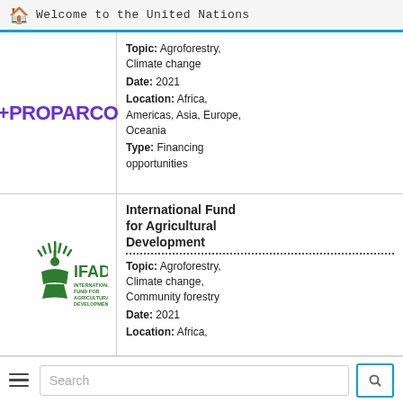Welcome to the United Nations
[Figure (logo): PROPARCO logo with purple plus sign and bold text]
Topic: Agroforestry, Climate change
Date: 2021
Location: Africa, Americas, Asia, Europe, Oceania
Type: Financing opportunities
[Figure (logo): IFAD - International Fund for Agricultural Development logo in green]
International Fund for Agricultural Development
Topic: Agroforestry, Climate change, Community forestry
Date: 2021
Location: Africa,
Search